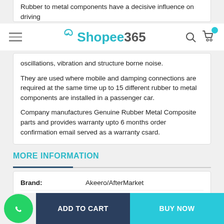Rubber to metal components have a decisive influence on driving oscillations, vibration and structure borne noise.

They are used where mobile and damping connections are required at the same time up to 15 different rubber to metal components are installed in a passenger car.

Company manufactures Genuine Rubber Metal Composite parts and provides warranty upto 6 months order confirmation email served as a warranty csard.
Shopee365
MORE INFORMATION
| Field | Value |
| --- | --- |
| Brand: | Akeero/AfterMarket |
| Vehicle Make: | HYUNDAI |